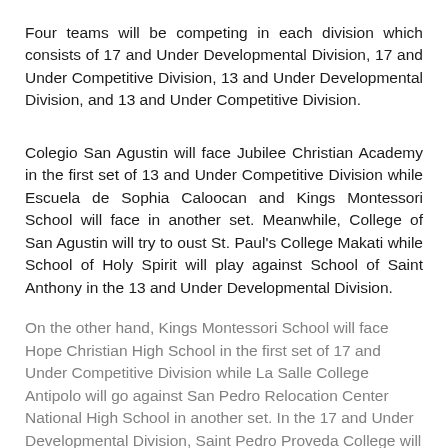Four teams will be competing in each division which consists of 17 and Under Developmental Division, 17 and Under Competitive Division, 13 and Under Developmental Division, and 13 and Under Competitive Division.
Colegio San Agustin will face Jubilee Christian Academy in the first set of 13 and Under Competitive Division while Escuela de Sophia Caloocan and Kings Montessori School will face in another set. Meanwhile, College of San Agustin will try to oust St. Paul's College Makati while School of Holy Spirit will play against School of Saint Anthony in the 13 and Under Developmental Division.
On the other hand, Kings Montessori School will face Hope Christian High School in the first set of 17 and Under Competitive Division while La Salle College Antipolo will go against San Pedro Relocation Center National High School in another set. In the 17 and Under Developmental Division, Saint Pedro Proveda College will battle against Colegio de Sta. Rosa while St. Paul's College Makati will compete against School of St. Anthony.